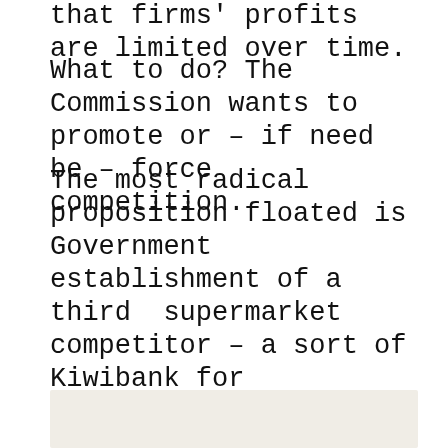that firms' profits are limited over time.
What to do? The Commission wants to promote or – if need be – force competition.
The most radical proposition floated is Government establishment of a third supermarket competitor – a sort of Kiwibank for groceries. An option not ruled out by Commerce and Consumer Affairs Minister David Clark. BayBuzz would welcome your views on that!
[Figure (other): Light beige/tan colored box at the bottom of the page]